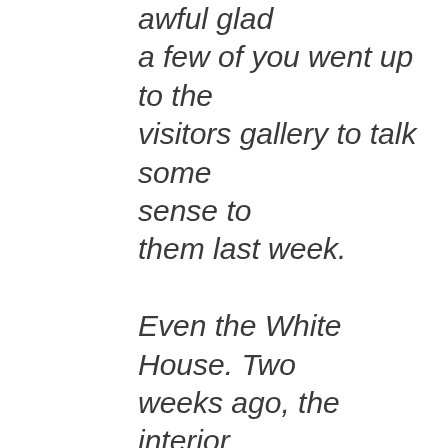awful glad a few of you went up to the visitors gallery to talk some sense to them last week. Even the White House. Two weeks ago, the interior secretary, who spoke here two years ago, Ken Salazar, signed a piece of paper opening up 250 million tonnes of coal under